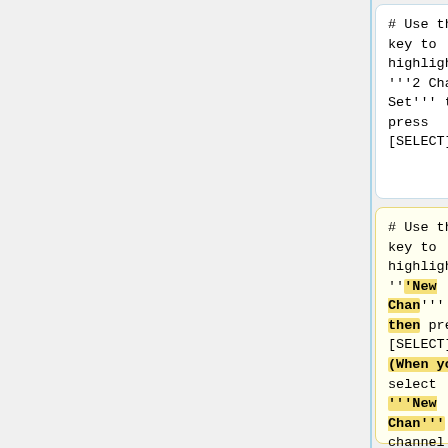# Use the ▼ key to highlight '''2 Chan Set''' then press [SELECT].
# Use the ▼ key to highlight '''2 Chan Set''' then press [SELECT].
# Use the ▼ key to highlight '''New Chan''' then press [SELECT]. (When you select '''New Chan''' the channel number window will
# Use the ▼ key to highlight '''3 Channel Type''' and press [SELECT] to select it then, if necessary, use the ▲ key to highlight